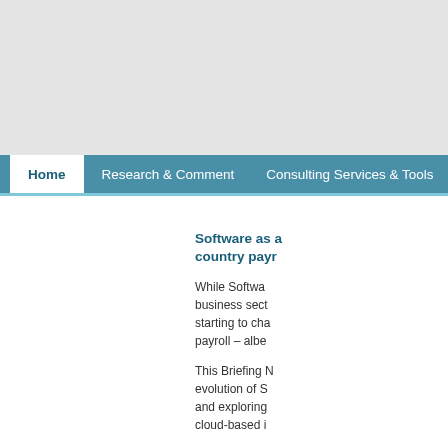Home | Research & Comment | Consulting Services & Tools
Software as a ... country payr...
While Softwa... business sect... starting to cha... payroll – albe...
This Briefing ... evolution of S... and exploring... cloud-based i...